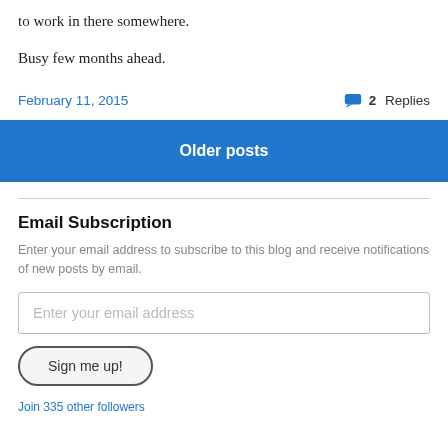to work in there somewhere.
Busy few months ahead.
February 11, 2015
2 Replies
Older posts
Email Subscription
Enter your email address to subscribe to this blog and receive notifications of new posts by email.
Enter your email address
Sign me up!
Join 335 other followers